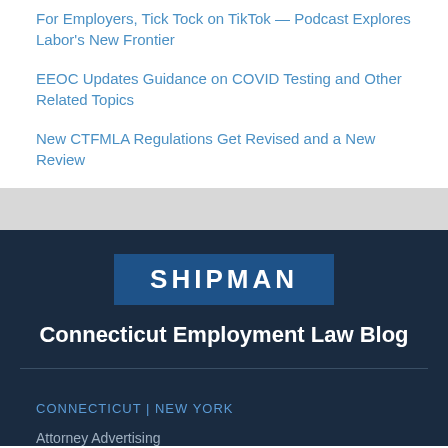For Employers, Tick Tock on TikTok — Podcast Explores Labor's New Frontier
EEOC Updates Guidance on COVID Testing and Other Related Topics
New CTFMLA Regulations Get Revised and a New Review
[Figure (logo): Shipman logo — white text SHIPMAN on a blue rectangle background]
Connecticut Employment Law Blog
CONNECTICUT | NEW YORK
Attorney Advertising